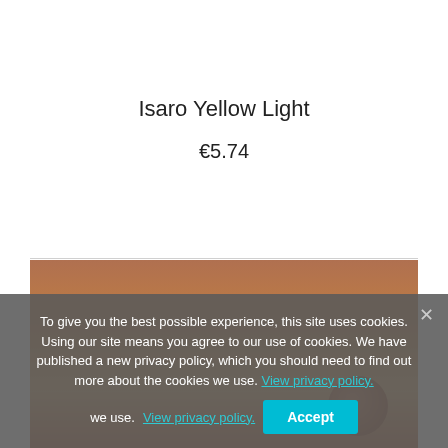Isaro Yellow Light
€5.74
[Figure (photo): Product photo area with warm brown/orange tones, partially obscured by cookie consent banner]
To give you the best possible experience, this site uses cookies. Using our site means you agree to our use of cookies. We have published a new privacy policy, which you should need to find out more about the cookies we use. View privacy policy.
Accept